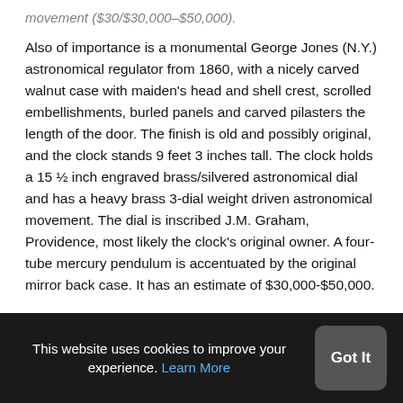movement ($30/$30,000-$50,000).
Also of importance is a monumental George Jones (N.Y.) astronomical regulator from 1860, with a nicely carved walnut case with maiden's head and shell crest, scrolled embellishments, burled panels and carved pilasters the length of the door. The finish is old and possibly original, and the clock stands 9 feet 3 inches tall. The clock holds a 15 ½ inch engraved brass/silvered astronomical dial and has a heavy brass 3-dial weight driven astronomical movement. The dial is inscribed J.M. Graham, Providence, most likely the clock's original owner. A four-tube mercury pendulum is accentuated by the original mirror back case. It has an estimate of $30,000-$50,000.
This website uses cookies to improve your experience. Learn More